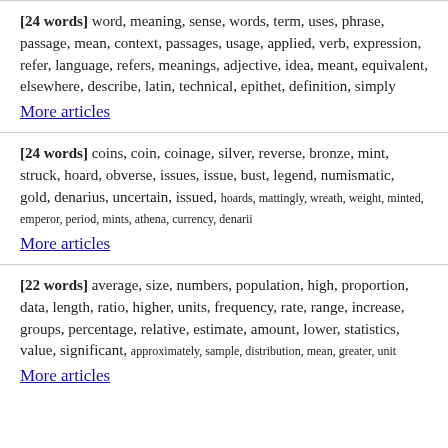[24 words] word, meaning, sense, words, term, uses, phrase, passage, mean, context, passages, usage, applied, verb, expression, refer, language, refers, meanings, adjective, idea, meant, equivalent, elsewhere, describe, latin, technical, epithet, definition, simply
More articles
[24 words] coins, coin, coinage, silver, reverse, bronze, mint, struck, hoard, obverse, issues, issue, bust, legend, numismatic, gold, denarius, uncertain, issued, hoards, mattingly, wreath, weight, minted, emperor, period, mints, athena, currency, denarii
More articles
[22 words] average, size, numbers, population, high, proportion, data, length, ratio, higher, units, frequency, rate, range, increase, groups, percentage, relative, estimate, amount, lower, statistics, value, significant, approximately, sample, distribution, mean, greater, unit
More articles